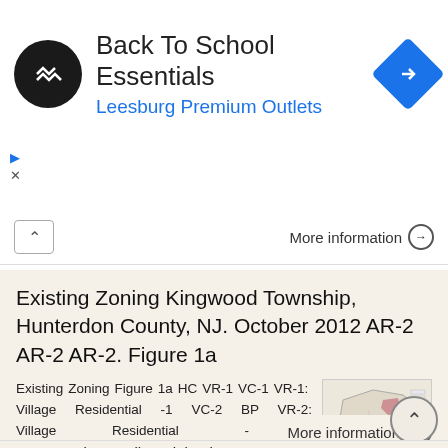[Figure (screenshot): Ad banner for Back To School Essentials at Leesburg Premium Outlets with logo and navigation icon]
More information →
Existing Zoning Kingwood Township, Hunterdon County, NJ. October 2012 AR-2 AR-2 AR-2. Figure 1a
Existing Zoning Figure 1a HC VR-1 VC-1 VR-1: Village Residential -1 VC-2 BP VR-2: Village Residential - 2 Agricultural/Residential VC-1: Village Commercial - 1 PO/R VC-2: Village Commercial - 2 PO/R: Professional
[Figure (map): Thumbnail map of Kingwood Township zoning]
More information →
Mayor and Council Daniel Fek, Manager